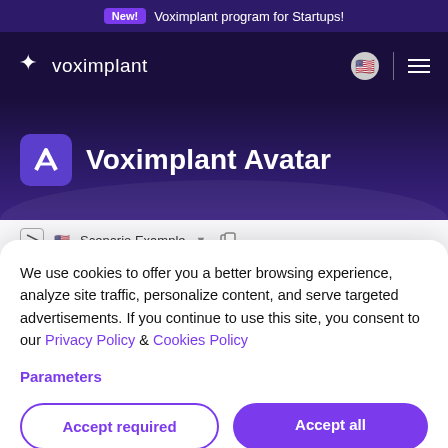New! Voximplant program for Startups!
[Figure (logo): Voximplant logo with puzzle-piece icon and text 'voximplant', navigation bar with US flag icon, divider, and hamburger menu on dark purple background]
Voximplant Avatar
[Figure (screenshot): Scenario Example dropdown bar with avatar logo icon and US flag icon]
We use cookies to offer you a better browsing experience, analyze site traffic, personalize content, and serve targeted advertisements. If you continue to use this site, you consent to our Privacy Policy & Cookies Policy
Parameters
Accept required
Accept all
Introducing Avatar: Out-of-the-Box